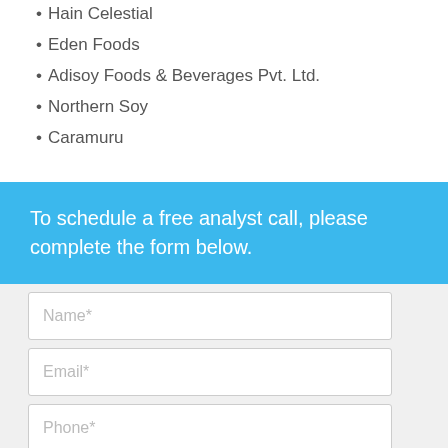Hain Celestial
Eden Foods
Adisoy Foods & Beverages Pvt. Ltd.
Northern Soy
Caramuru
To schedule a free analyst call, please complete the form below.
Name*
Email*
Phone*